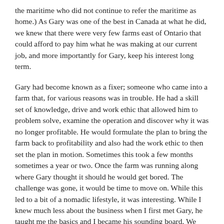the maritime who did not continue to refer the maritime as home.) As Gary was one of the best in Canada at what he did, we knew that there were very few farms east of Ontario that could afford to pay him what he was making at our current job, and more importantly for Gary, keep his interest long term.
Gary had become known as a fixer; someone who came into a farm that, for various reasons was in trouble. He had a skill set of knowledge, drive and work ethic that allowed him to problem solve, examine the operation and discover why it was no longer profitable. He would formulate the plan to bring the farm back to profitability and also had the work ethic to then set the plan in motion. Sometimes this took a few months sometimes a year or two. Once the farm was running along where Gary thought it should he would get bored. The challenge was gone, it would be time to move on. While this led to a bit of a nomadic lifestyle, it was interesting. While I knew much less about the business when I first met Gary, he taught me the basics and I became his sounding board. We discussed his 'projects' and by the time our daughter Bethany started school I understood the industry as well as Gary. The farm we were running